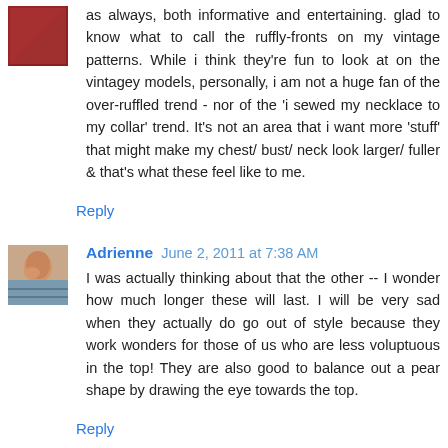as always, both informative and entertaining. glad to know what to call the ruffly-fronts on my vintage patterns. While i think they're fun to look at on the vintagey models, personally, i am not a huge fan of the over-ruffled trend - nor of the 'i sewed my necklace to my collar' trend. It's not an area that i want more 'stuff' that might make my chest/ bust/ neck look larger/ fuller & that's what these feel like to me.
Reply
Adrienne  June 2, 2011 at 7:38 AM
I was actually thinking about that the other -- I wonder how much longer these will last. I will be very sad when they actually do go out of style because they work wonders for those of us who are less voluptuous in the top! They are also good to balance out a pear shape by drawing the eye towards the top.
Reply